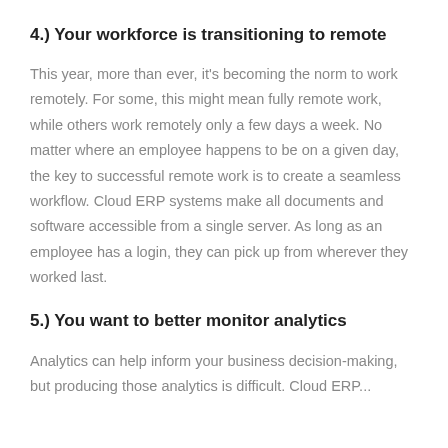4.) Your workforce is transitioning to remote
This year, more than ever, it’s becoming the norm to work remotely. For some, this might mean fully remote work, while others work remotely only a few days a week. No matter where an employee happens to be on a given day, the key to successful remote work is to create a seamless workflow. Cloud ERP systems make all documents and software accessible from a single server. As long as an employee has a login, they can pick up from wherever they worked last.
5.) You want to better monitor analytics
Analytics can help inform your business decision-making, but producing those analytics is difficult. Cloud ERP...